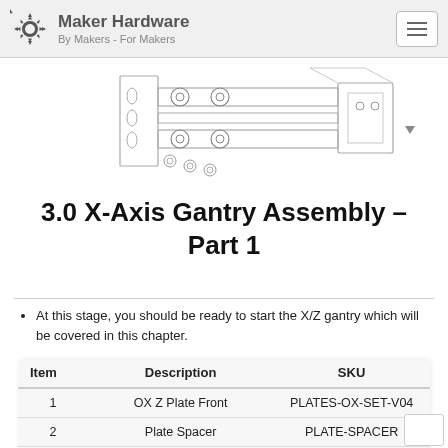Maker Hardware — By Makers - For Makers
[Figure (engineering-diagram): Technical line drawing of an X/Z gantry assembly showing plates, wheels, and hardware components in isometric view]
3.0 X-Axis Gantry Assembly – Part 1
At this stage, you should be ready to start the X/Z gantry which will be covered in this chapter.
| Item | Description | SKU |
| --- | --- | --- |
| 1 | OX Z Plate Front | PLATES-OX-SET-V04 |
| 2 | Plate Spacer | PLATE-SPACER |
| 3 | 10MM M5 Low Profile Screws | SCREWS-M5-LP-10 |